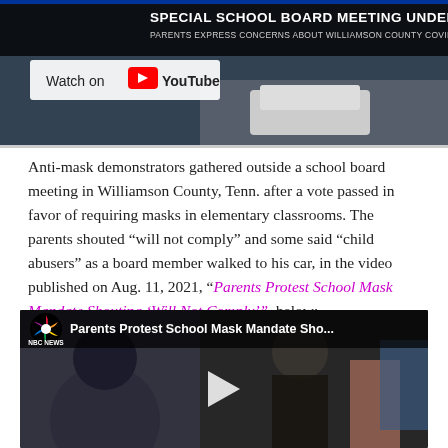[Figure (screenshot): YouTube video thumbnail showing a news broadcast with text 'SPECIAL SCHOOL BOARD MEETING UNDERWAY' and 'PARENTS EXPRESS CONCERNS ABOUT WILLIAMSON COUNTY COVID GUIDELINES'. Has 'Watch on YouTube' button overlay.]
Anti-mask demonstrators gathered outside a school board meeting in Williamson County, Tenn. after a vote passed in favor of requiring masks in elementary classrooms. The parents shouted “will not comply” and some said “child abusers” as a board member walked to his car, in the video published on Aug. 11, 2021, “Parents Protest School Mask Mandate Shouting ‘Will Not Comply’”, below:
[Figure (screenshot): NBC News YouTube video embed showing crowd of people at protest. Video title overlay reads 'Parents Protest School Mask Mandate Sho...' with NBC News logo. Play button visible in center.]